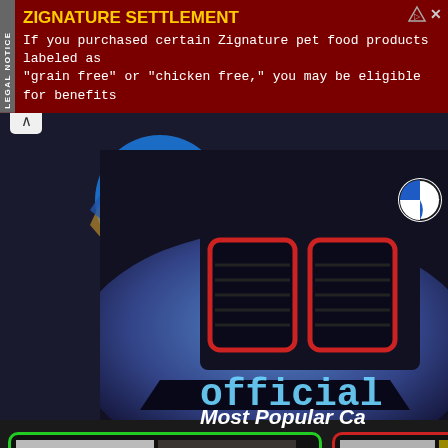[Figure (screenshot): Advertisement banner: ZIGNATURE SETTLEMENT legal notice on dark red background with yellow title and white monospaced text about pet food settlement eligibility]
ZIGNATURE SETTLEMENT
If you purchased certain Zignature pet food products labeled as "grain free" or "chicken free," you may be eligible for benefits
[Figure (photo): Close-up of a blue BMW sports car front end with red-trimmed kidney grille, with watermarked text 'official c' in cyan monospace font overlay]
Most Popular Ca
[Figure (photo): Green-bordered card showing two sports cars: white SSC supercar and black Arash sports car with labels below]
[Figure (photo): Red-bordered card showing two cars: gray Ferrari and partially visible yellow Lamborghini with labels below]